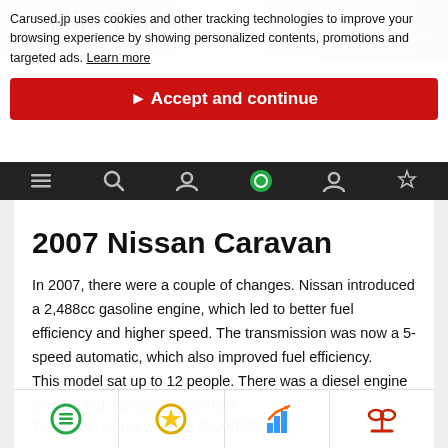[Figure (screenshot): Cookie consent banner overlay on a Carused.jp webpage showing Mini Trucks background image with a dark navigation bar]
Carused.jp uses cookies and other tracking technologies to improve your browsing experience by showing personalized contents, promotions and targeted ads. Learn more
▶ Accept and continue
2007 Nissan Caravan
In 2007, there were a couple of changes. Nissan introduced a 2,488cc gasoline engine, which led to better fuel efficiency and higher speed. The transmission was now a 5-speed automatic, which also improved fuel efficiency.
This model sat up to 12 people. There was a diesel engine with E6 and a 2053 displacement
The model of this year is KR-VWE25...